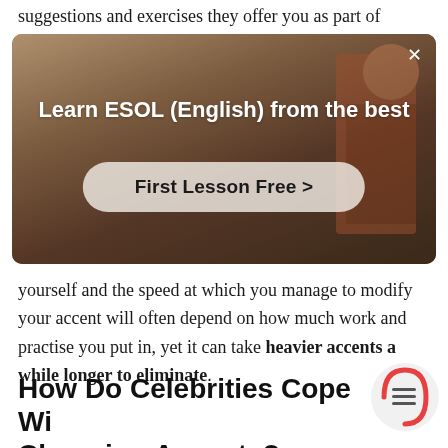suggestions and exercises they offer you as part of
[Figure (screenshot): Advertisement banner: 'Learn ESOL (English) from the best' with a 'First Lesson Free >' button, shown over a video background of a person. Has an X close button.]
yourself and the speed at which you manage to modify your accent will often depend on how much work and practise you put in, yet it can take heavier accents a while longer to eliminate.
How Do Celebrities Cope With Changing Accents?